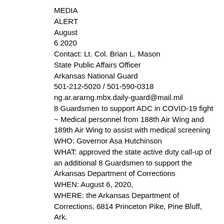MEDIA ALERT August 6 2020
Contact: Lt. Col. Brian L. Mason
State Public Affairs Officer
Arkansas National Guard
501-212-5020 / 501-590-0318
ng.ar.ararng.mbx.daily-guard@mail.mil
8 Guardsmen to support ADC in COVID-19 fight
~ Medical personnel from 188th Air Wing and 189th Air Wing to assist with medical screening
WHO: Governor Asa Hutchinson
WHAT: approved the state active duty call-up of an additional 8 Guardsmen to support the Arkansas Department of Corrections
WHEN: August 6, 2020,
WHERE: the Arkansas Department of Corrections, 6814 Princeton Pike, Pine Bluff, Ark.
WHY: Arkansas Air National Guardsmen will assist the Arkansas Department of Corrections with COVID-19 screening under the direction of Wellpath, the contracted medical provider. The Guardsmen will report to the